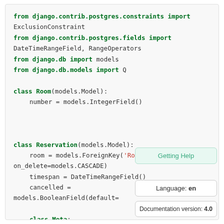[Figure (screenshot): Code block showing Django Python code with import statements, Room model class, and beginning of Reservation model class with ForeignKey, timespan, cancelled fields and nested Meta class]
Getting Help
Language: en
Documentation version: 4.0